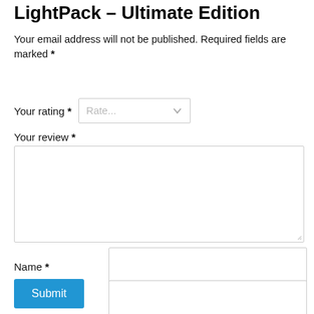LightPack – Ultimate Edition
Your email address will not be published. Required fields are marked *
Your rating *
Your review *
Name *
Email *
Submit